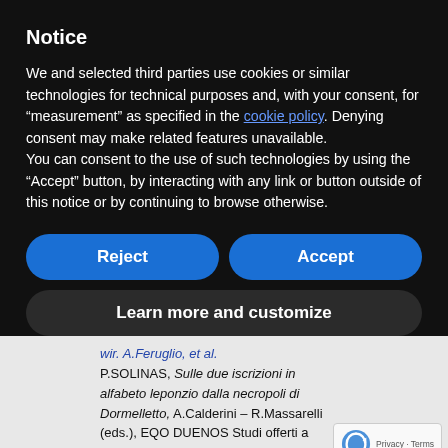Notice
We and selected third parties use cookies or similar technologies for technical purposes and, with your consent, for “measurement” as specified in the cookie policy. Denying consent may make related features unavailable.
You can consent to the use of such technologies by using the “Accept” button, by interacting with any link or button outside of this notice or by continuing to browse otherwise.
[Figure (screenshot): Two blue pill-shaped buttons labeled Reject and Accept side by side]
[Figure (screenshot): Dark pill-shaped button labeled Learn more and customize]
P.SOLINAS, Sulle due iscrizioni in alfabeto leponzio dalla necropoli di Dormelletto, A.Calderini – R.Massarelli (eds.), EQO DUENOS Studi offerti a Luciano Agostiniani, Collana